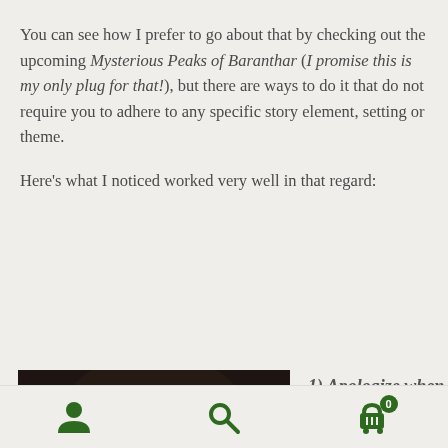You can see how I prefer to go about that by checking out the upcoming Mysterious Peaks of Baranthar (I promise this is my only plug for that!), but there are ways to do it that do not require you to adhere to any specific story element, setting or theme.

Here's what I noticed worked very well in that regard:
[Figure (photo): Dark atmospheric image showing a dimly lit stone archway or dungeon-like setting with a figure visible at the bottom]
1) Apologize when they arrive to game.
Navigation bar with user icon, search icon, and cart icon with 0 badge